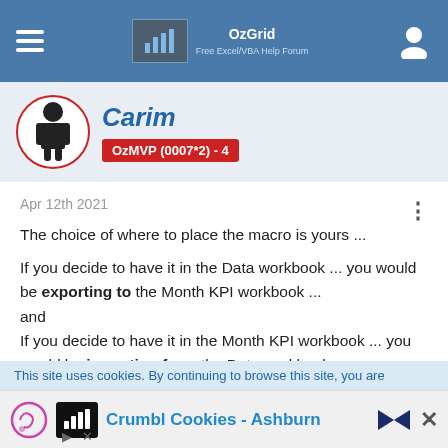OzGrid — Free Excel/VBA Help Forum
Carim
OzMVP (0007*2) - 4
Apr 12th 2021
The choice of where to place the macro is yours ...
If you decide to have it in the Data workbook ... you would be exporting to the Month KPI workbook ...
and
If you decide to have it in the Month KPI workbook ... you would be importing from the Data workbook ...
Guess the only question is what is the most convenient for
This site uses cookies. By continuing to browse this site, you are
Crumbl Cookies - Ashburn